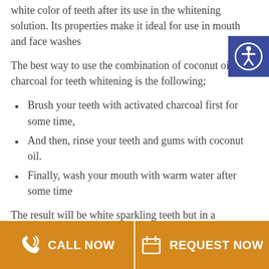white color of teeth after its use in the whitening solution. Its properties make it ideal for use in mouth and face washes
The best way to use the combination of coconut oil and charcoal for teeth whitening is the following;
Brush your teeth with activated charcoal first for some time,
And then, rinse your teeth and gums with coconut oil.
Finally, wash your mouth with warm water after some time
The result will be white sparkling teeth but in a
[Figure (other): Accessibility icon button - blue square with a white person/accessibility symbol]
CALL NOW | REQUEST NOW